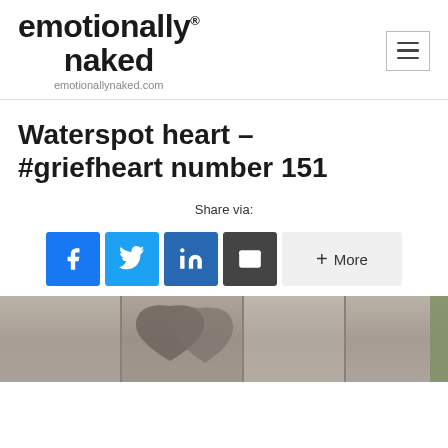emotionally naked® emotionallynaked.com
Waterspot heart – #griefheart number 151
Share via:
[Figure (infographic): Social share buttons: Facebook, Twitter, LinkedIn, Email, and More]
[Figure (photo): Photo of a heart-shaped water spot on wooden planks]